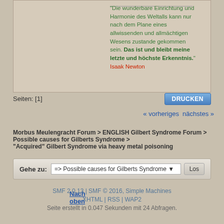"Die wunderbare Einrichtung und Harmonie des Weltalls kann nur nach dem Plane eines allwissenden und allmächtigen Wesens zustande gekommen sein. Das ist und bleibt meine letzte und höchste Erkenntnis." Isaak Newton
Seiten: [1]  Nach oben
« vorheriges nächstes »
Morbus Meulengracht Forum > ENGLISH Gilbert Syndrome Forum > Possible causes for Gilberts Syndrome > "Acquired" Gilbert Syndrome via heavy metal poisoning
Gehe zu: => Possible causes for Gilberts Syndrome  Los
SMF 2.0.13 | SMF © 2016, Simple Machines
XHTML | RSS | WAP2
Seite erstellt in 0.047 Sekunden mit 24 Abfragen.